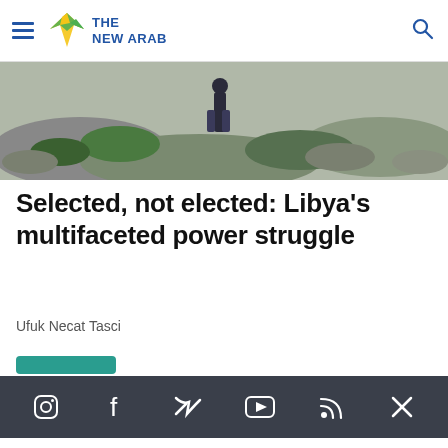The New Arab
[Figure (photo): Outdoor scene with a person standing on rocky terrain with green vegetation, viewed from behind]
Selected, not elected: Libya's multifaceted power struggle
Ufuk Necat Tasci
[Figure (screenshot): Social media share bar with icons for Instagram, Facebook, Twitter, YouTube, RSS, and close button on dark background]
[Figure (screenshot): Website footer section with social icons, The New Arab Arabic logo, copyright 2022, privacy policy, terms of use, and sitemap links]
Most Viewed